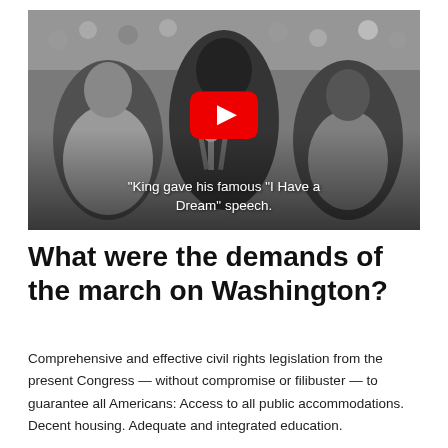[Figure (photo): Black and white photograph of Martin Luther King Jr. speaking at a podium with multiple microphones, surrounded by a crowd. A YouTube play button overlay is shown in the center. A caption reads: King gave his famous "I Have a Dream" speech.]
What were the demands of the march on Washington?
Comprehensive and effective civil rights legislation from the present Congress — without compromise or filibuster — to guarantee all Americans: Access to all public accommodations. Decent housing. Adequate and integrated education.